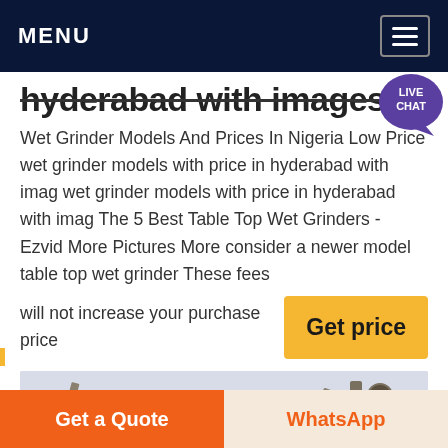MENU
hyderabad with images
Wet Grinder Models And Prices In Nigeria Low Price wet grinder models with price in hyderabad with imag wet grinder models with price in hyderabad with imag The 5 Best Table Top Wet Grinders - Ezvid More Pictures More consider a newer model table top wet grinder These fees will not increase your purchase price
[Figure (screenshot): Yellow 'Get price' button]
[Figure (photo): Industrial machinery / grinder equipment photo, partially visible]
Get a Quote
WhatsApp